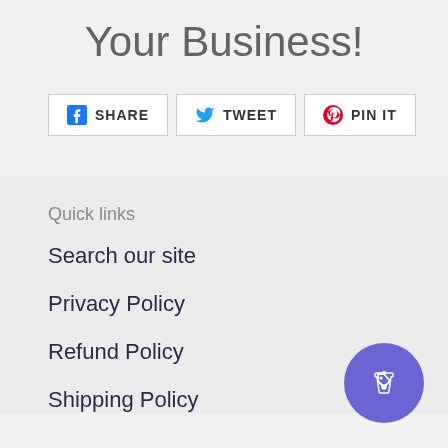Your Business!
[Figure (infographic): Social share buttons: Facebook SHARE, Twitter TWEET, Pinterest PIN IT]
Quick links
Search our site
Privacy Policy
Refund Policy
Shipping Policy